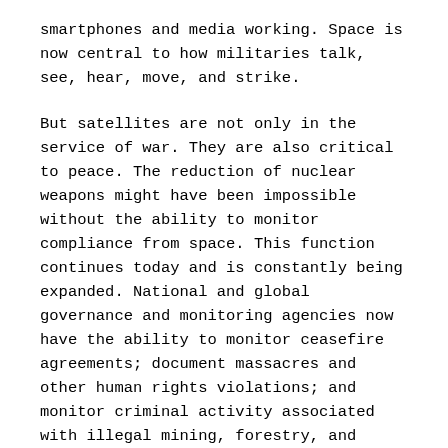smartphones and media working. Space is now central to how militaries talk, see, hear, move, and strike.
But satellites are not only in the service of war. They are also critical to peace. The reduction of nuclear weapons might have been impossible without the ability to monitor compliance from space. This function continues today and is constantly being expanded. National and global governance and monitoring agencies now have the ability to monitor ceasefire agreements; document massacres and other human rights violations; and monitor criminal activity associated with illegal mining, forestry, and piracy.